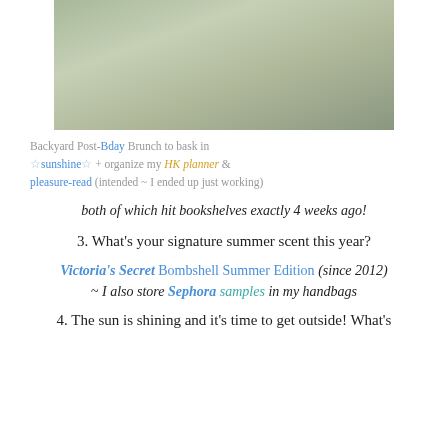[Figure (photo): Photo of items on a garden mesh surface — a book, a dark green planner, and pink scissors/tools in sunlight outdoors]
Backyard Post-Bday Brunch to bask in ☆sunshine☆ + organize my HK planner & pleasure-read (intended ~ I ended up just working)
both of which hit bookshelves exactly 4 weeks ago!
3. What's your signature summer scent this year?
Victoria's Secret Bombshell Summer Edition (since 2012) ~ I also store Sephora samples in my handbags
4. The sun is shining and it's time to get outside! What's your favorite thing to do?